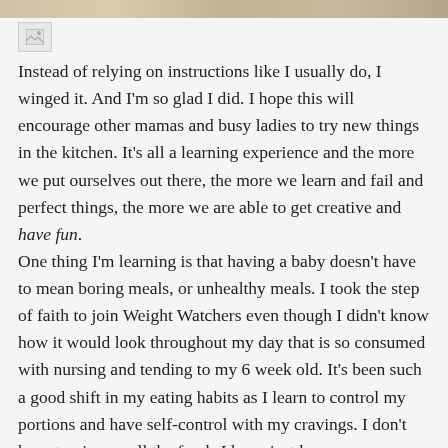[Figure (photo): Cropped strip of a food photo at the top of the page]
[Figure (photo): Broken/placeholder image icon]
Instead of relying on instructions like I usually do, I winged it. And I'm so glad I did. I hope this will encourage other mamas and busy ladies to try new things in the kitchen. It's all a learning experience and the more we put ourselves out there, the more we learn and fail and perfect things, the more we are able to get creative and have fun. One thing I'm learning is that having a baby doesn't have to mean boring meals, or unhealthy meals. I took the step of faith to join Weight Watchers even though I didn't know how it would look throughout my day that is so consumed with nursing and tending to my 6 week old. It's been such a good shift in my eating habits as I learn to control my portions and have self-control with my cravings. I don't have to give up all the foods I love, just be more responsible with how often I eat them. And it's awesome because they've become more like treats instead of necessities. This "diet" isn't about going on a diet at all; it's changing my lifestyle, my appetite, and my natural inclination to be obsessed with food to a more healthy